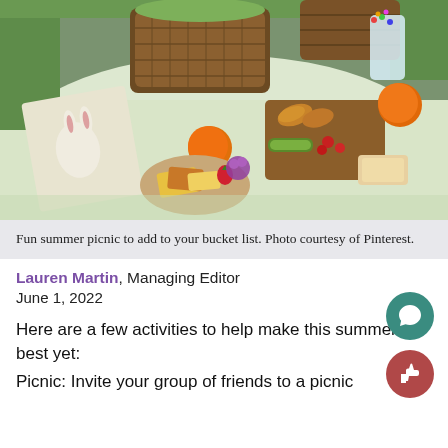[Figure (photo): Overhead photo of a summer picnic spread on a light blanket with a wicker basket, cheese board, fruits (oranges, strawberries), croissants, a glass with colorful sprinkles, and green grass visible in the background.]
Fun summer picnic to add to your bucket list. Photo courtesy of Pinterest.
Lauren Martin, Managing Editor
June 1, 2022
Here are a few activities to help make this summer the best yet:
Picnic: Invite your group of friends to a picnic